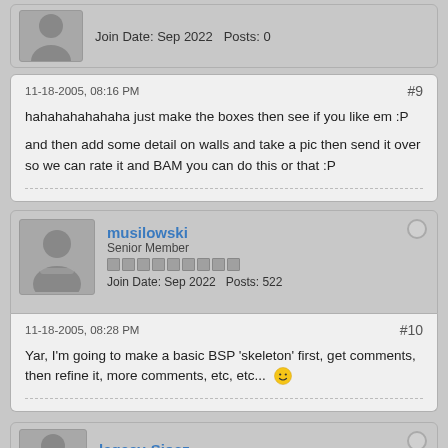[Figure (screenshot): Forum post #9 partial top showing avatar and join date Sep 2022, Posts 0]
11-18-2005, 08:16 PM
#9
hahahahahahaha just make the boxes then see if you like em :P
and then add some detail on walls and take a pic then send it over so we can rate it and BAM you can do this or that :P
musilowski
Senior Member
Join Date: Sep 2022    Posts: 522
11-18-2005, 08:28 PM
#10
Yar, I'm going to make a basic BSP 'skeleton' first, get comments, then refine it, more comments, etc, etc...
legacy-Sjosz
Junior Member